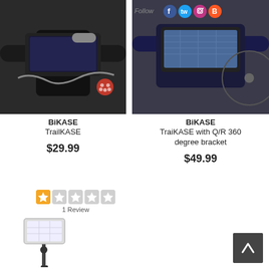[Figure (photo): Smartphone mounted on bicycle handlebars - left product]
[Figure (photo): Smartphone mounted on bicycle handlebars with Q/R 360 bracket - right product, with Follow social media icons overlaid]
BiKASE
TrailKASE
$29.99
1 Review
BiKASE
TraiKASE with Q/R 360 degree bracket
$49.99
[Figure (photo): Tablet/phone mounted on a floor stand pole]
[Figure (other): Back-to-top arrow button]